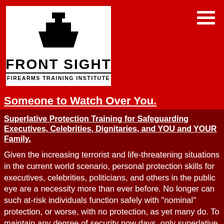[Figure (logo): Front Sight Firearms Training Institute logo — black silhouette of a shooter figure above a trapezoidal shape, bold text FRONT SIGHT with space in the middle, and FIREARMS TRAINING INSTITUTE below a horizontal line, on white background]
Someone to Watch Over You.
Superlative Protection Training for Safeguarding Executives, Celebrities, Dignitaries, and YOU and YOUR Family.
Given the increasing terrorist and life-threatening situations in the current world scenario, personal protection skills for executives, celebrities, politicians, and others in the public eye are a necessity more than ever before. No longer can such at-risk individuals function safely with "nominal" protection, or worse, with no protection, as yet many do. To maintain any degree of security now days, only superlative executive protection will suffice. And to get that, you need superlative protection training, comprised of a multi-discipline of the very best, and most effective protection techniques